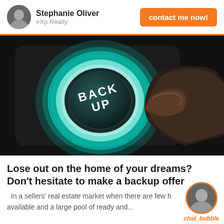Stephanie Oliver | eXp Realty | contact me now!
[Figure (photo): Close-up of a glowing teal/cyan illuminated button labeled BACKUP being pressed by a finger, dark background]
Lose out on the home of your dreams? Don't hesitate to make a backup offer
In a sellers' real estate market when there are few homes available and a large pool of ready and...
[Figure (photo): Circular chat bubble icon showing Stephanie Oliver's photo with orange border and chat_bubble label]